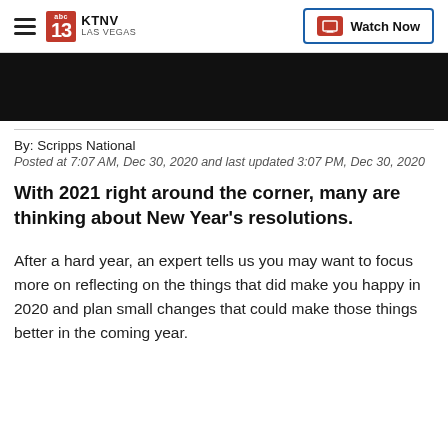KTNV LAS VEGAS | Watch Now
[Figure (screenshot): Black video thumbnail/player area]
By: Scripps National
Posted at 7:07 AM, Dec 30, 2020 and last updated 3:07 PM, Dec 30, 2020
With 2021 right around the corner, many are thinking about New Year's resolutions.
After a hard year, an expert tells us you may want to focus more on reflecting on the things that did make you happy in 2020 and plan small changes that could make those things better in the coming year.